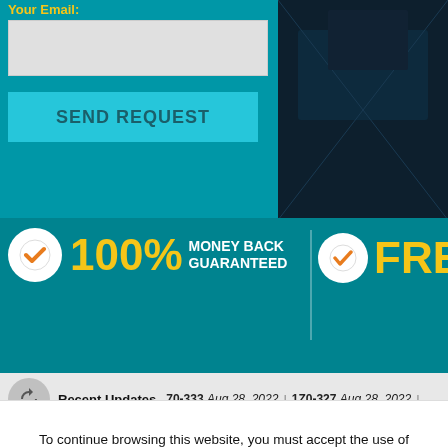Your Email:
[Figure (screenshot): Email input field (gray rectangle)]
SEND REQUEST
[Figure (photo): Dark background photo on the right side]
100% MONEY BACK GUARANTEED
FRE...
Recent Updates   70-333 Aug 28, 2022 | 1Z0-327 Aug 28, 2022 |
To continue browsing this website, you must accept the use of cookies to ensure the best experience on our website. Learn more and manage cookies
OK